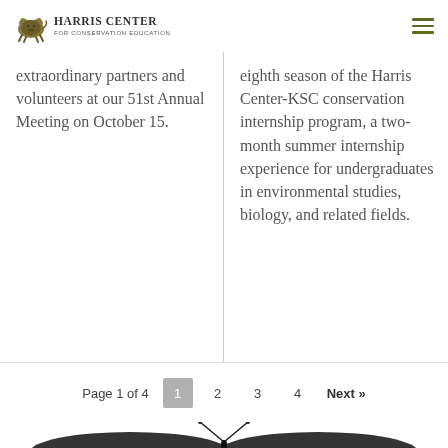Harris Center for Conservation Education
extraordinary partners and volunteers at our 51st Annual Meeting on October 15.
eighth season of the Harris Center-KSC conservation internship program, a two-month summer internship experience for undergraduates in environmental studies, biology, and related fields.
Page 1 of 4  1  2  3  4  Next »
[Figure (photo): Bottom portion of a butterfly or insect specimen photograph, partially visible]